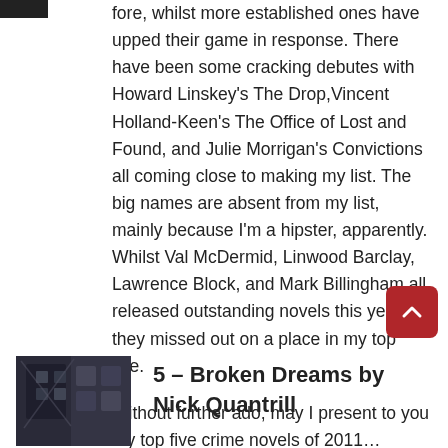fore, whilst more established ones have upped their game in response. There have been some cracking debutes with Howard Linskey's The Drop, Vincent Holland-Keen's The Office of Lost and Found, and Julie Morrigan's Convictions all coming close to making my list. The big names are absent from my list, mainly because I'm a hipster, apparently. Whilst Val McDermid, Linwood Barclay, Lawrence Block, and Mark Billingham all released outstanding novels this year, they missed out on a place in my top five.
Without further ado, may I present to you my top five crime novels of 2011…
[Figure (photo): Dark moody photo showing what appears to be a broken or damaged window/structure, possibly a book cover image for 'Broken Dreams']
5 – Broken Dreams by Nick Quantrill